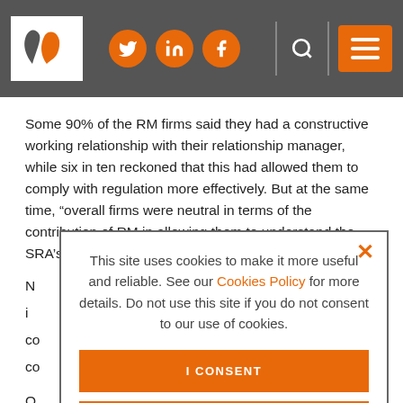[Figure (screenshot): Website header with logo, social media icons (Twitter, LinkedIn, Facebook), search icon, and hamburger menu button on dark gray background]
Some 90% of the RM firms said they had a constructive working relationship with their relationship manager, while six in ten reckoned that this had allowed them to comply with regulation more effectively. But at the same time, “overall firms were neutral in terms of the contribution of RM in allowing them to understand the SRA’s approach to OFR”, the research said.
N[obscured by cookie banner]
O[obscured by cookie banner]
S[obscured by cookie banner]
[Figure (screenshot): Cookie consent popup overlay with text: 'This site uses cookies to make it more useful and reliable. See our Cookies Policy for more details. Do not use this site if you do not consent to our use of cookies.' with I CONSENT and SEE COOKIE POLICY buttons]